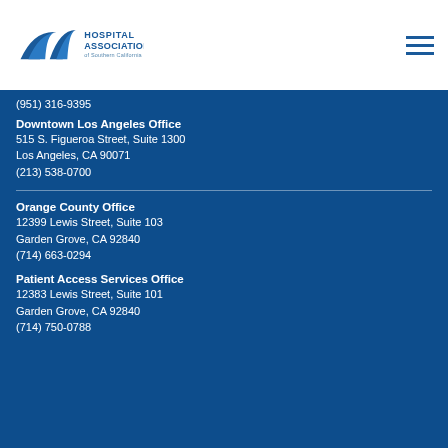[Figure (logo): Hospital Association of Southern California logo with stylized blue swoosh/road icon and text]
(951) 316-9395
Downtown Los Angeles Office
515 S. Figueroa Street, Suite 1300
Los Angeles, CA 90071
(213) 538-0700
Orange County Office
12399 Lewis Street, Suite 103
Garden Grove, CA 92840
(714) 663-0294
Patient Access Services Office
12383 Lewis Street, Suite 101
Garden Grove, CA 92840
(714) 750-0788